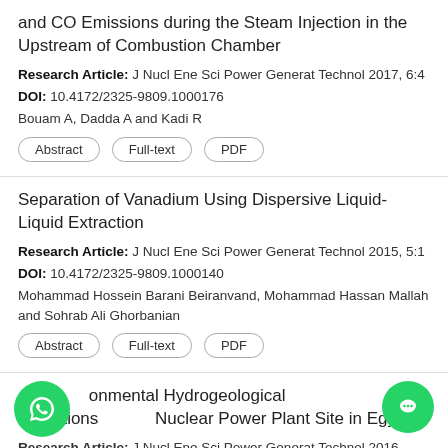and CO Emissions during the Steam Injection in the Upstream of Combustion Chamber
Research Article: J Nucl Ene Sci Power Generat Technol 2017, 6:4
DOI: 10.4172/2325-9809.1000176
Bouam A, Dadda A and Kadi R
Abstract
Full-text
PDF
Separation of Vanadium Using Dispersive Liquid-Liquid Extraction
Research Article: J Nucl Ene Sci Power Generat Technol 2015, 5:1
DOI: 10.4172/2325-9809.1000140
Mohammad Hossein Barani Beiranvand, Mohammad Hassan Mallah and Sohrab Ali Ghorbanian
Abstract
Full-text
PDF
onmental Hydrogeological Conditions Nuclear Power Plant Site in Egypt
Research Article: J Nucl Ene Sci Power Generat Technol 2016